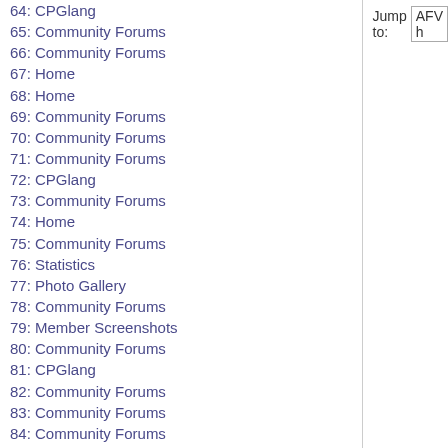64: CPGlang
65: Community Forums
66: Community Forums
67: Home
68: Home
69: Community Forums
70: Community Forums
71: Community Forums
72: CPGlang
73: Community Forums
74: Home
75: Community Forums
76: Statistics
77: Photo Gallery
78: Community Forums
79: Member Screenshots
80: Community Forums
81: CPGlang
82: Community Forums
83: Community Forums
84: Community Forums
85: Home
86: CPGlang
87: Community Forums
Jump to: AFV h